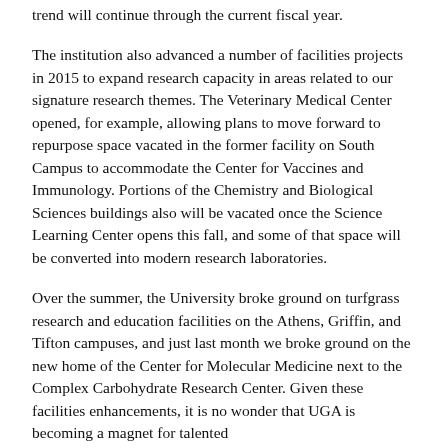year, and early quarterly reports indicate that this positive trend will continue through the current fiscal year.
The institution also advanced a number of facilities projects in 2015 to expand research capacity in areas related to our signature research themes. The Veterinary Medical Center opened, for example, allowing plans to move forward to repurpose space vacated in the former facility on South Campus to accommodate the Center for Vaccines and Immunology. Portions of the Chemistry and Biological Sciences buildings also will be vacated once the Science Learning Center opens this fall, and some of that space will be converted into modern research laboratories.
Over the summer, the University broke ground on turfgrass research and education facilities on the Athens, Griffin, and Tifton campuses, and just last month we broke ground on the new home of the Center for Molecular Medicine next to the Complex Carbohydrate Research Center. Given these facilities enhancements, it is no wonder that UGA is becoming a magnet for talented